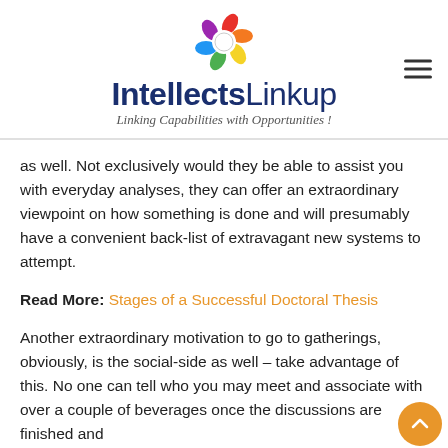[Figure (logo): IntellectsLinkup logo with colorful flower/gear icon and tagline 'Linking Capabilities with Opportunities!']
as well. Not exclusively would they be able to assist you with everyday analyses, they can offer an extraordinary viewpoint on how something is done and will presumably have a convenient back-list of extravagant new systems to attempt.
Read More: Stages of a Successful Doctoral Thesis
Another extraordinary motivation to go to gatherings, obviously, is the social-side as well – take advantage of this. No one can tell who you may meet and associate with over a couple of beverages once the discussions are finished and